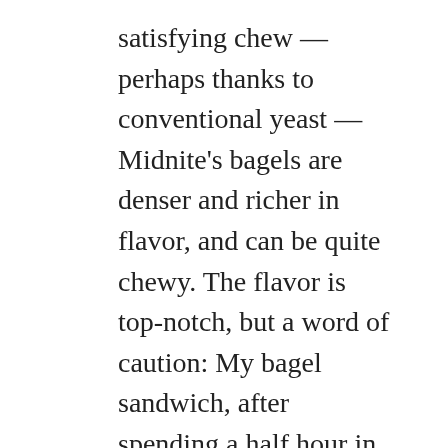satisfying chew — perhaps thanks to conventional yeast — Midnite's bagels are denser and richer in flavor, and can be quite chewy. The flavor is top-notch, but a word of caution: My bagel sandwich, after spending a half hour in a box on the way home, was almost unpleasantly chewy before I took the toppings off and re-toasted it. Toasted at home and then topped with cream cheese and lox, this may be the best bagel ever to grace San Francisco. But I would recommend buying fresh, whole bagels ($3 each) and the toppings separately at the shop and doing the toasting and assembly at home if you want to get what I mean. The toaster does some